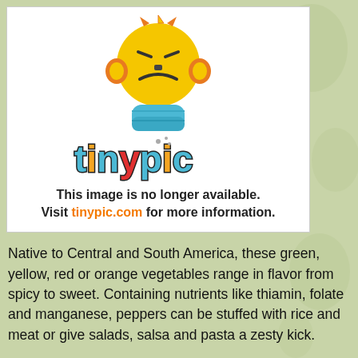[Figure (logo): Tinypic.com placeholder image showing a cartoon character mascot and the tinypic logo with text: 'This image is no longer available. Visit tinypic.com for more information.']
Native to Central and South America, these green, yellow, red or orange vegetables range in flavor from spicy to sweet. Containing nutrients like thiamin, folate and manganese, peppers can be stuffed with rice and meat or give salads, salsa and pasta a zesty kick.
Till the soil with both compost and Epsom salts, which will make it rich in magnesium to help the peppers develop healthily. Since they grow best in warm soil, sow the seeds a